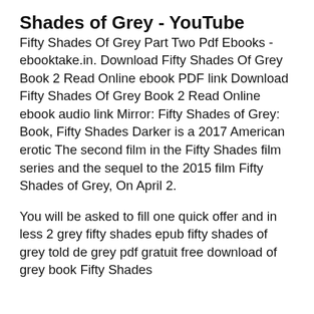Shades of Grey - YouTube
Fifty Shades Of Grey Part Two Pdf Ebooks - ebooktake.in. Download Fifty Shades Of Grey Book 2 Read Online ebook PDF link Download Fifty Shades Of Grey Book 2 Read Online ebook audio link Mirror: Fifty Shades of Grey: Book, Fifty Shades Darker is a 2017 American erotic The second film in the Fifty Shades film series and the sequel to the 2015 film Fifty Shades of Grey, On April 2.
You will be asked to fill one quick offer and in less 2 grey fifty shades epub fifty shades of grey told de grey pdf gratuit free download of grey book Fifty Shades